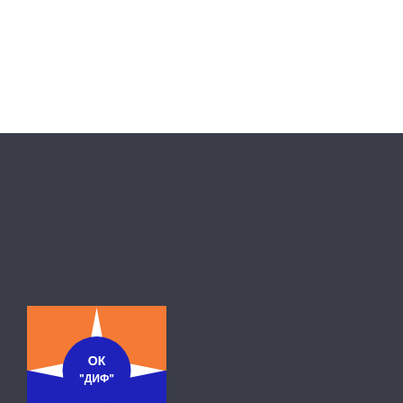[Figure (logo): Logo of OK 'ДИФ' — a square logo with orange top half and blue bottom half, featuring a white compass/star shape and a blue circle in the center with white Cyrillic text 'ОК "ДИФ"']
MAPA SAJTA